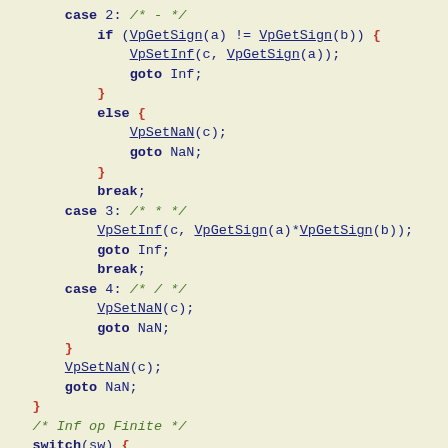Code snippet showing C switch/case logic with VpGetSign, VpSetInf, VpSetNaN function calls for Inf op Finite handling